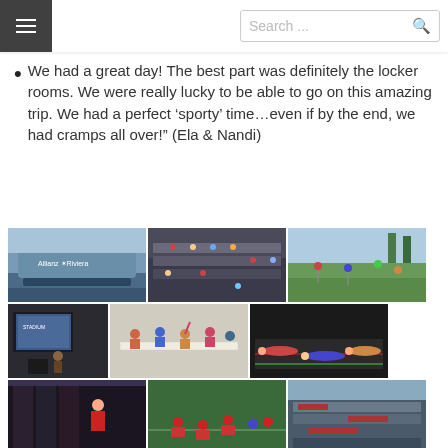Search ...
We had a great day! The best part was definitely the locker rooms. We were really lucky to be able to go on this amazing trip. We had a perfect 'sporty' time...even if by the end, we had cramps all over!" (Ela & Nandi)
[Figure (photo): Grid of 9 photos showing a stadium exterior (Allianz Riviera), students in stadium seating, children playing sports on grass, a museum/exhibit room with screen, students at a table discussion, children lying on a mat doing exercises, a locker room or gym interior, children sitting on artificial turf, and an aerial view of a large stadium.]